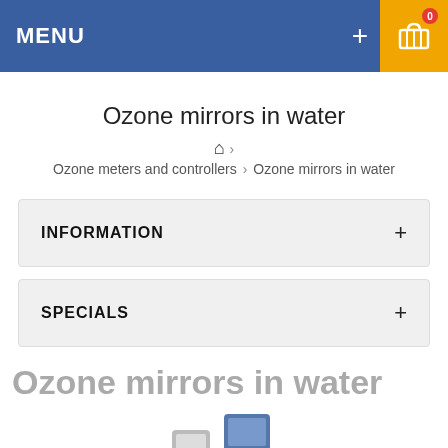MENU
Ozone mirrors in water
Home > Ozone meters and controllers > Ozone mirrors in water
INFORMATION
SPECIALS
Ozone mirrors in water
[Figure (photo): Product image of ozone mirror in water device]